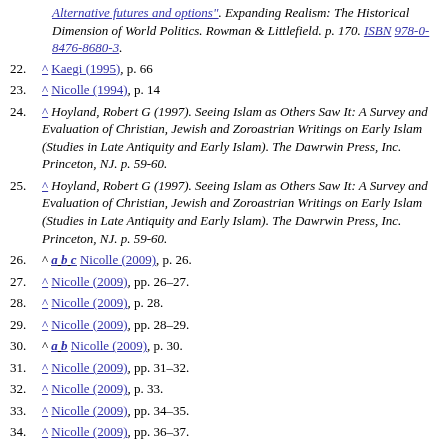(continuation) Alternative futures and options". Expanding Realism: The Historical Dimension of World Politics. Rowman & Littlefield. p. 170. ISBN 978-0-8476-8680-3.
22. ^ Kaegi (1995), p. 66
23. ^ Nicolle (1994), p. 14
24. ^ Hoyland, Robert G (1997). Seeing Islam as Others Saw It: A Survey and Evaluation of Christian, Jewish and Zoroastrian Writings on Early Islam (Studies in Late Antiquity and Early Islam). The Dawrwin Press, Inc. Princeton, NJ. p. 59-60.
25. ^ Hoyland, Robert G (1997). Seeing Islam as Others Saw It: A Survey and Evaluation of Christian, Jewish and Zoroastrian Writings on Early Islam (Studies in Late Antiquity and Early Islam). The Dawrwin Press, Inc. Princeton, NJ. p. 59-60.
26. ^ a b c Nicolle (2009), p. 26.
27. ^ Nicolle (2009), pp. 26–27.
28. ^ Nicolle (2009), p. 28.
29. ^ Nicolle (2009), pp. 28–29.
30. ^ a b Nicolle (2009), p. 30.
31. ^ Nicolle (2009), pp. 31–32.
32. ^ Nicolle (2009), p. 33.
33. ^ Nicolle (2009), pp. 34–35.
34. ^ Nicolle (2009), pp. 36–37.